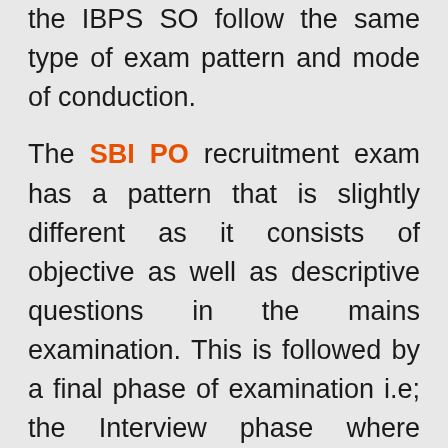the IBPS SO follow the same type of exam pattern and mode of conduction.

The SBI PO recruitment exam has a pattern that is slightly different as it consists of objective as well as descriptive questions in the mains examination. This is followed by a final phase of examination i.e; the Interview phase where candidates are required to sit for a face to face interview. For the candidates to get selected for the PO position, they are required to qualify the mains and the interview phases individually. Another rule of scoring in this exam is that